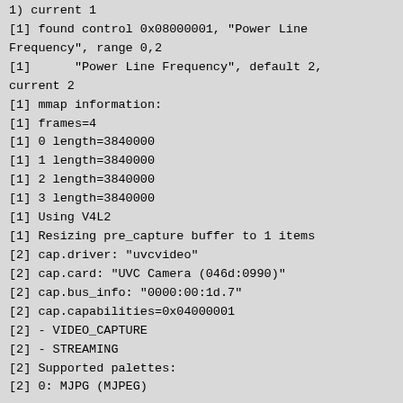1) current 1
[1] found control 0x08000001, "Power Line Frequency", range 0,2
[1]      "Power Line Frequency", default 2, current 2
[1] mmap information:
[1] frames=4
[1] 0 length=3840000
[1] 1 length=3840000
[1] 2 length=3840000
[1] 3 length=3840000
[1] Using V4L2
[1] Resizing pre_capture buffer to 1 items
[2] cap.driver: "uvcvideo"
[2] cap.card: "UVC Camera (046d:0990)"
[2] cap.bus_info: "0000:00:1d.7"
[2] cap.capabilities=0x04000001
[2] - VIDEO_CAPTURE
[2] - STREAMING
[2] Supported palettes:
[2] 0: MJPG (MJPEG)